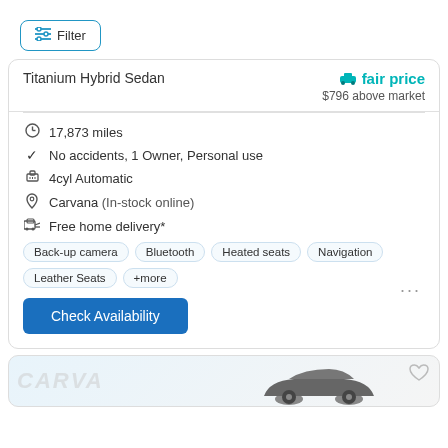Filter
Titanium Hybrid Sedan
fair price
$796 above market
17,873 miles
No accidents, 1 Owner, Personal use
4cyl Automatic
Carvana (In-stock online)
Free home delivery*
Back-up camera  Bluetooth  Heated seats  Navigation  Leather Seats  +more
Check Availability